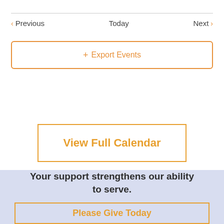< Previous   Today   Next >
+ Export Events
View Full Calendar
Your support strengthens our ability to serve.
Please Give Today